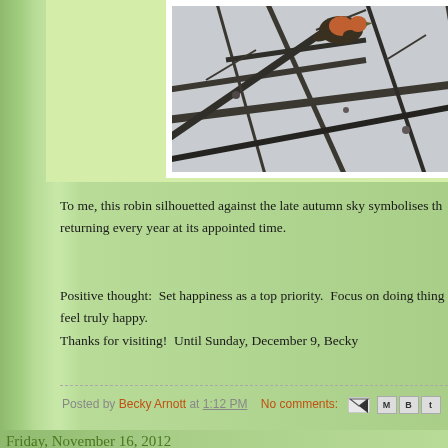[Figure (photo): A robin silhouetted on bare tree branches against a pale winter sky, photographed in late autumn.]
To me, this robin silhouetted against the late autumn sky symbolises th... returning every year at its appointed time.
Positive thought:  Set happiness as a top priority.  Focus on doing thing... feel truly happy.
Thanks for visiting!  Until Sunday, December 9, Becky
Posted by Becky Arnott at 1:12 PM    No comments:
Friday, November 16, 2012